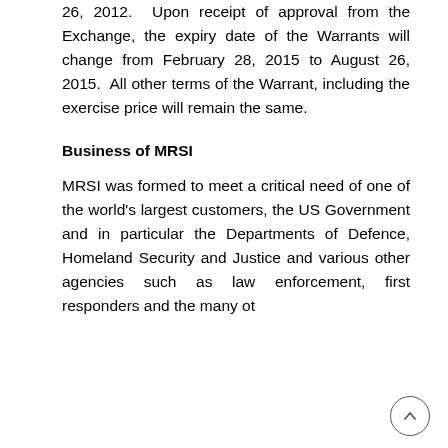26, 2012. Upon receipt of approval from the Exchange, the expiry date of the Warrants will change from February 28, 2015 to August 26, 2015. All other terms of the Warrant, including the exercise price will remain the same.
Business of MRSI
MRSI was formed to meet a critical need of one of the world's largest customers, the US Government and in particular the Departments of Defence, Homeland Security and Justice and various other agencies such as law enforcement, first responders and the many ot...